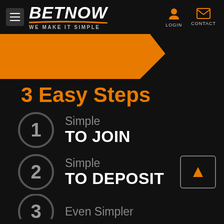BETNOW — WE MAKE IT SIMPLE — LOGIN — CONTACT
[Figure (infographic): Orange banner with dark arrow/chevron shape pointing right]
3 Easy Steps
1 Simple TO JOIN
2 Simple TO DEPOSIT
3 Even Simpler